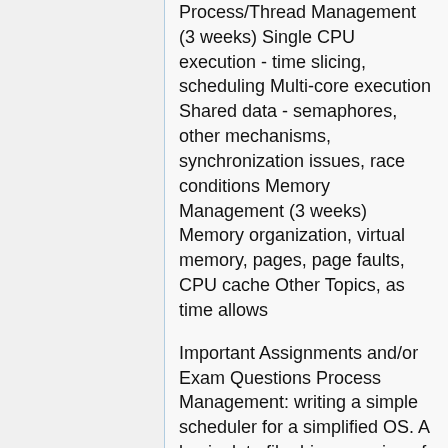Process/Thread Management (3 weeks) Single CPU execution - time slicing, scheduling Multi-core execution Shared data - semaphores, other mechanisms, synchronization issues, race conditions Memory Management (3 weeks) Memory organization, virtual memory, pages, page faults, CPU cache Other Topics, as time allows
Important Assignments and/or Exam Questions Process Management: writing a simple scheduler for a simplified OS. A basic data file driven version of this assignment might use a data file which lists a sequences of jobs. For each job, the data file would specify the time and resource demands of the job. Output would include snapshots of the process table at any given time. A more challenging version of this assignment